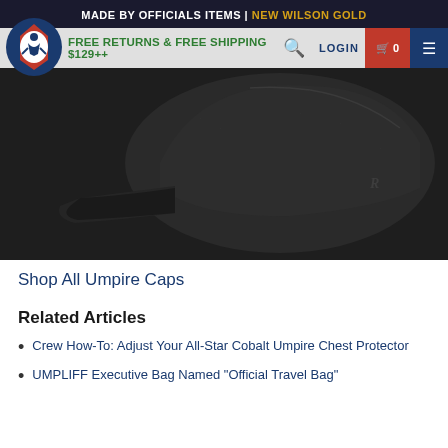MADE BY OFFICIALS ITEMS | NEW WILSON GOLD
FREE RETURNS & FREE SHIPPING $129++
[Figure (photo): Side view of a black umpire baseball cap on dark background, showing the brim and a Richardson logo on the side panel]
Shop All Umpire Caps
Related Articles
Crew How-To: Adjust Your All-Star Cobalt Umpire Chest Protector
UMPLIFF Executive Bag Named "Official Travel Bag"